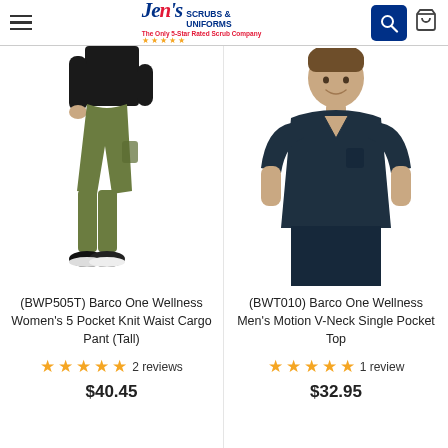Jen's Scrubs & Uniforms - The Only 5-Star Rated Scrub Company
[Figure (photo): Woman wearing olive green cargo scrub pants with black shoes and black top, shown from side/profile view]
(BWP505T) Barco One Wellness Women's 5 Pocket Knit Waist Cargo Pant (Tall)
★★★★★ 2 reviews
$40.45
[Figure (photo): Man wearing dark navy/teal scrub top with V-neck and single pocket, smiling, hands at sides]
(BWT010) Barco One Wellness Men's Motion V-Neck Single Pocket Top
★★★★★ 1 review
$32.95